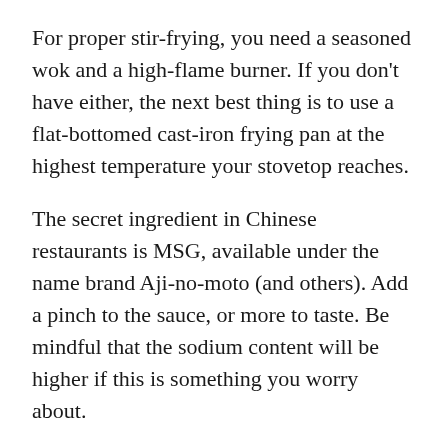For proper stir-frying, you need a seasoned wok and a high-flame burner. If you don't have either, the next best thing is to use a flat-bottomed cast-iron frying pan at the highest temperature your stovetop reaches.
The secret ingredient in Chinese restaurants is MSG, available under the name brand Aji-no-moto (and others). Add a pinch to the sauce, or more to taste. Be mindful that the sodium content will be higher if this is something you worry about.
No two Chop Suey recipes are alike. Other ingredients that can be used are mushrooms, broad beans, bamboo hearts, etc. Adapt the recipe to your taste.
If you want to make a vegetarian version, eliminate the chicken and the corresponding steps. The trick to Chop Suey (cooked but crispy vegetables) is in short cooking high temperature, the vegetables are added starting with